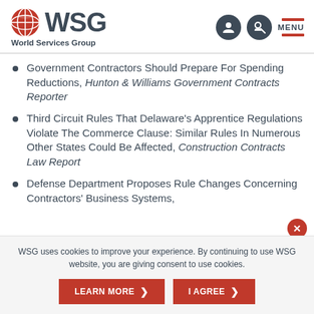WSG World Services Group
Government Contractors Should Prepare For Spending Reductions, Hunton & Williams Government Contracts Reporter
Third Circuit Rules That Delaware's Apprentice Regulations Violate The Commerce Clause: Similar Rules In Numerous Other States Could Be Affected, Construction Contracts Law Report
Defense Department Proposes Rule Changes Concerning Contractors' Business Systems,
WSG uses cookies to improve your experience. By continuing to use WSG website, you are giving consent to use cookies.